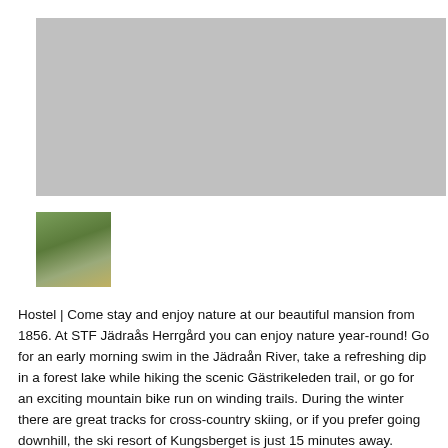[Figure (photo): Large placeholder/grey image at top of page]
[Figure (photo): Small thumbnail photo of STF Jädraås Herrgård building exterior with red roof and trees]
Hostel | Come stay and enjoy nature at our beautiful mansion from 1856. At STF Jädraås Herrgård you can enjoy nature year-round! Go for an early morning swim in the Jädraån River, take a refreshing dip in a forest lake while hiking the scenic Gästrikeleden trail, or go for an exciting mountain bike run on winding trails. During the winter there are great tracks for cross-country skiing, or if you prefer going downhill, the ski resort of Kungsberget is just 15 minutes away.
Jädraås Herrgård is located right by Jädraån River with a magnificent view of the river and the great big forests. The